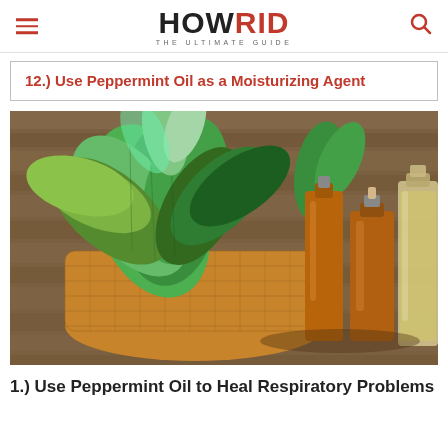HOWRID THE ULTIMATE GUIDE
12.) Use Peppermint Oil as a Moisturizing Agent
[Figure (photo): Fresh green peppermint leaves in a wicker basket alongside several amber and clear glass essential oil bottles on a wooden surface]
1.) Use Peppermint Oil to Heal Respiratory Problems